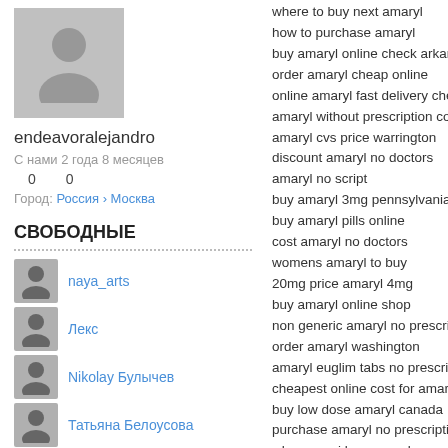[Figure (photo): User avatar placeholder silhouette]
endeavoralejandro
С нами 2 года 8 месяцев
0   0
Город: Россия › Москва
СВОБОДНЫЕ
naya_arts
Лекс
Nikolay Булычев
Татьяна Белоусова
Ksenia Gippius
where to buy next amaryl
how to purchase amaryl
buy amaryl online check arkansas
order amaryl cheap online
online amaryl fast delivery check
amaryl without prescription codest
amaryl cvs price warrington
discount amaryl no doctors
amaryl no script
buy amaryl 3mg pennsylvania
buy amaryl pills online
cost amaryl no doctors
womens amaryl to buy
20mg price amaryl 4mg
buy amaryl online shop
non generic amaryl no prescription
order amaryl washington
amaryl euglim tabs no prescription
cheapest online cost for amaryl
buy low dose amaryl canada
purchase amaryl no prescription chea
where can i buy amaryl
low price amaryl fedex malaysia
cheapest amaryl delivery cheap
generic amaryl without prescription ch